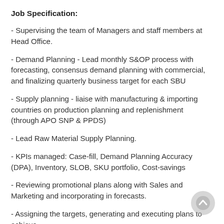Job Specification:
- Supervising the team of Managers and staff members at Head Office.
- Demand Planning - Lead monthly S&OP process with forecasting, consensus demand planning with commercial, and finalizing quarterly business target for each SBU
- Supply planning - liaise with manufacturing & importing countries on production planning and replenishment (through APO SNP & PPDS)
- Lead Raw Material Supply Planning.
- KPIs managed: Case-fill, Demand Planning Accuracy (DPA), Inventory, SLOB, SKU portfolio, Cost-savings
- Reviewing promotional plans along with Sales and Marketing and incorporating in forecasts.
- Assigning the targets, generating and executing plans to achieve